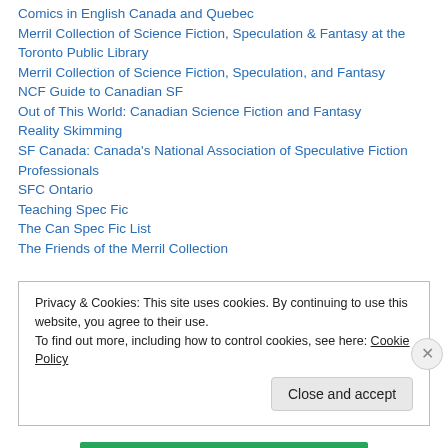Comics in English Canada and Quebec
Merril Collection of Science Fiction, Speculation & Fantasy at the Toronto Public Library
Merril Collection of Science Fiction, Speculation, and Fantasy
NCF Guide to Canadian SF
Out of This World: Canadian Science Fiction and Fantasy
Reality Skimming
SF Canada: Canada's National Association of Speculative Fiction Professionals
SFC Ontario
Teaching Spec Fic
The Can Spec Fic List
The Friends of the Merril Collection
Privacy & Cookies: This site uses cookies. By continuing to use this website, you agree to their use.
To find out more, including how to control cookies, see here: Cookie Policy
Close and accept